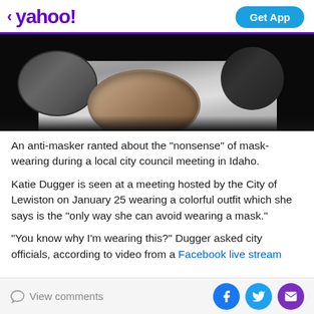< yahoo! | Get App
[Figure (photo): Partial view of metallic bowls/containers on a surface, partially cropped, on a dark background]
An anti-masker ranted about the "nonsense" of mask-wearing during a local city council meeting in Idaho.
Katie Dugger is seen at a meeting hosted by the City of Lewiston on January 25 wearing a colorful outfit which she says is the "only way she can avoid wearing a mask."
"You know why I'm wearing this?" Dugger asked city officials, according to video from a Facebook live stream
View comments | [Facebook] [Twitter] [Email]